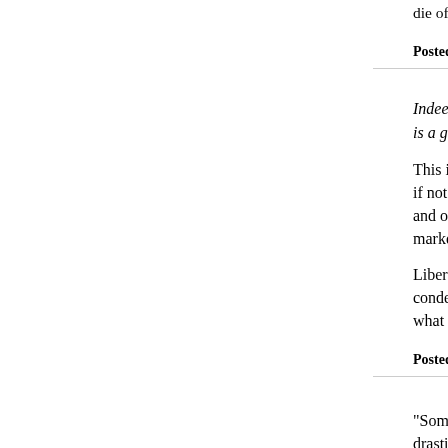die of poisoning, abandon land, or sell for next…
Posted by: hilzoy | October 03, 2006 at 04:20 PM
Indeed, the core principle of the Democratic Party is a good thing.
This is Republican strawman baloney, and it's been around for decades if not longer. Hilzoy expressed it well above: gove and of itself, but a necessary thing to ensure oppo market failures.
Libertarianism has often struck me as little more t condemn all government as bad because one ca what works and what doesn't, and to fight for the
Posted by: Kenneth Fair | October 03, 2006 at 04:21 PM
"Someone please help me: in a world where we t drastically, how will corporations then be able to i Where there are real examples, I think there's a r (environmental laws come to mind, since I can thi negative externalities). But if the federal governm the Department of Commerce, what threats are w